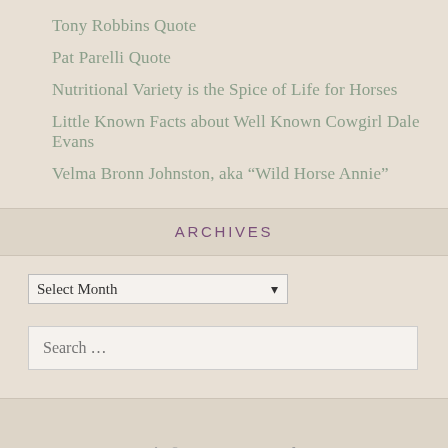Tony Robbins Quote
Pat Parelli Quote
Nutritional Variety is the Spice of Life for Horses
Little Known Facts about Well Known Cowgirl Dale Evans
Velma Bronn Johnston, aka “Wild Horse Annie”
ARCHIVES
Select Month
Search …
Kari Bovée © 2011-2022 . Back to top ↑